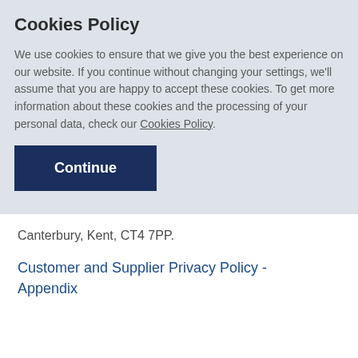Cookies Policy
We use cookies to ensure that we give you the best experience on our website. If you continue without changing your settings, we'll assume that you are happy to accept these cookies. To get more information about these cookies and the processing of your personal data, check our Cookies Policy.
Continue
Canterbury, Kent, CT4 7PP.
Customer and Supplier Privacy Policy - Appendix